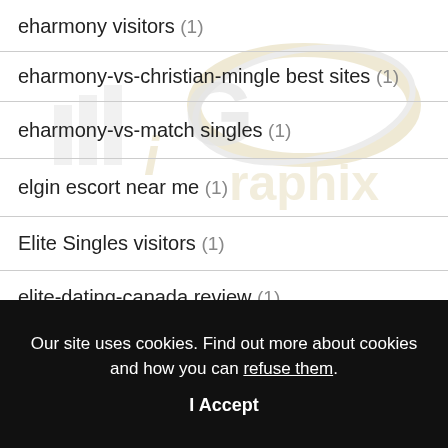eharmony visitors (1)
eharmony-vs-christian-mingle best sites (1)
eharmony-vs-match singles (1)
elgin escort near me (1)
Elite Singles visitors (1)
elite-dating-canada review (1)
Our site uses cookies. Find out more about cookies and how you can refuse them.
I Accept